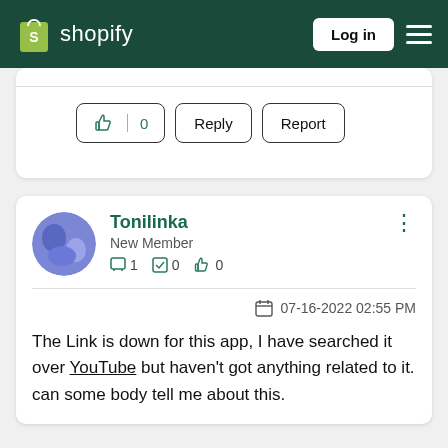Shopify — Log in
[Figure (screenshot): Partial comment card showing like (thumbs up with count 0), Reply, and Report buttons]
Tonilinka
New Member
1 post, 0 accepted answers, 0 likes
07-16-2022 02:55 PM
The Link is down for this app, I have searched it over YouTube but haven't got anything related to it. can some body tell me about this.